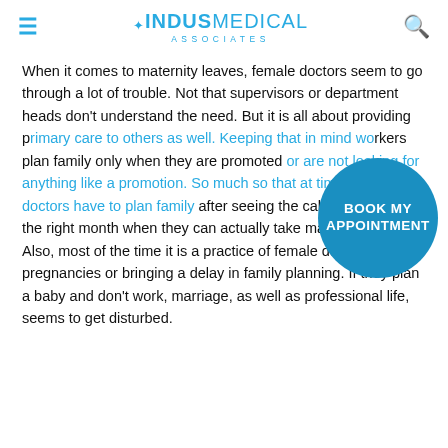INDUS MEDICAL ASSOCIATES
When it comes to maternity leaves, female doctors seem to go through a lot of trouble. Not that supervisors or department heads don't understand the need. But it is all about providing primary care to others as well. Keeping that in mind workers plan family only when they are promoted or are not looking for anything like a promotion. So much so that at times females doctors have to plan family after seeing the calendar – to find the right month when they can actually take maternity leave. Also, most of the time it is a practice of female doctors to avoid pregnancies or bringing a delay in family planning. If they plan a baby and don't work, marriage, as well as professional life, seems to get disturbed.
[Figure (other): BOOK MY APPOINTMENT circular button overlay in blue]